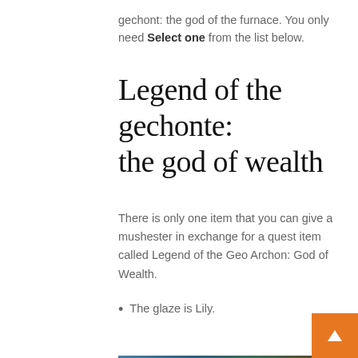gechont: the god of the furnace. You only need Select one from the list below.
Legend of the gechonte: the god of wealth
There is only one item that you can give a mushester in exchange for a quest item called Legend of the Geo Archon: God of Wealth.
The glaze is Lily.
[Figure (screenshot): YouTube video embed showing 'Geo Archon Anecdotes ...' with a channel logo icon and three-dot menu button, with a dark header bar and game scene preview below.]